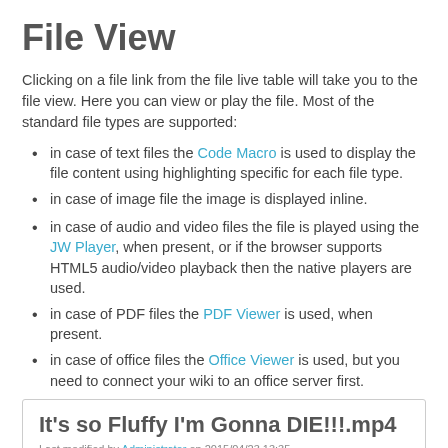File View
Clicking on a file link from the file live table will take you to the file view. Here you can view or play the file. Most of the standard file types are supported:
in case of text files the Code Macro is used to display the file content using highlighting specific for each file type.
in case of image file the image is displayed inline.
in case of audio and video files the file is played using the JW Player, when present, or if the browser supports HTML5 audio/video playback then the native players are used.
in case of PDF files the PDF Viewer is used, when present.
in case of office files the Office Viewer is used, but you need to connect your wiki to an office server first.
[Figure (screenshot): Screenshot of file view page showing 'It's so Fluffy I'm Gonna DIE!!!.mp4', last modified by Administrator on 2015/04/23 13:35, with Back to the File Manager and Download buttons.]